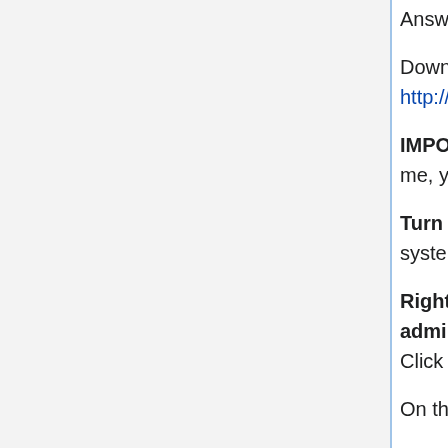Answers forum thread.
Download the latest Tomcat 5.5 Core Windows Service Installer from http://tomcat.apache.org/download-55.cgi.
IMPORTANT: Please follow these instructions very carefully. (Trust me, you don't want the trouble we went through to discover all this.)
Turn off any antivirus software you may have running on your system, even if you don't think it is necessary.
Right-click the Windows Service Installer and select Run as administrator. The program will start and display a welcome screen. Click Next.
On the license agreement page, accept the terms.